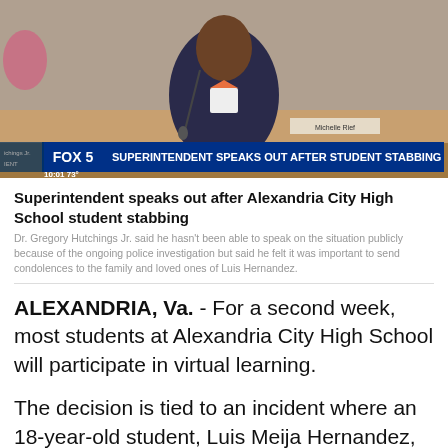[Figure (screenshot): FOX 5 news video thumbnail showing a man in a suit with an orange bow tie at a desk. Lower third banner reads: FOX 5 SUPERINTENDENT SPEAKS OUT AFTER STUDENT STABBING. Time shown: 10:01, temperature: 73°]
Superintendent speaks out after Alexandria City High School student stabbing
Dr. Gregory Hutchings Jr. said he hasn't been able to speak on the situation publicly because of the ongoing police investigation but said he felt it was important to send condolences to the family and loved ones of Luis Hernandez.
ALEXANDRIA, Va. - For a second week, most students at Alexandria City High School will participate in virtual learning.
The decision is tied to an incident where an 18-year-old student, Luis Meija Hernandez, was stabbed and killed off campus by a 16-year-old classmate.